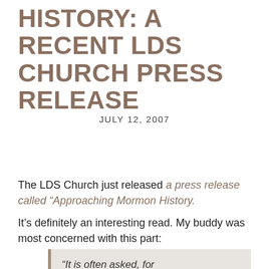HISTORY: A RECENT LDS CHURCH PRESS RELEASE
JULY 12, 2007
The LDS Church just released a press release called “Approaching Mormon History.
It’s definitely an interesting read. My buddy was most concerned with this part:
“It is often asked, for example, how the Church